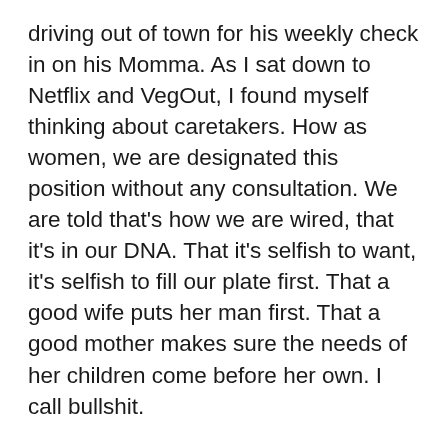driving out of town for his weekly check in on his Momma. As I sat down to Netflix and VegOut, I found myself thinking about caretakers. How as women, we are designated this position without any consultation. We are told that's how we are wired, that it's in our DNA. That it's selfish to want, it's selfish to fill our plate first. That a good wife puts her man first. That a good mother makes sure the needs of her children come before her own. I call bullshit.
I'm here to tell you, from personal and agonizing experience, putting others first and yourself last helps no one, least of all yourself. Sooner or later resentment sets in and BAM! Unnecessary arguments with your spouse, temper tantrum competitions with your children, tears and hurt feelings to all and from all who surround you. All you'll